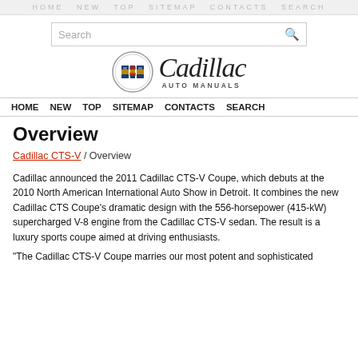[Figure (logo): Cadillac Auto Manuals logo with emblem and italic script text]
HOME  NEW  TOP  SITEMAP  CONTACTS  SEARCH
Overview
Cadillac CTS-V / Overview
Cadillac announced the 2011 Cadillac CTS-V Coupe, which debuts at the 2010 North American International Auto Show in Detroit. It combines the new Cadillac CTS Coupe's dramatic design with the 556-horsepower (415-kW) supercharged V-8 engine from the Cadillac CTS-V sedan. The result is a luxury sports coupe aimed at driving enthusiasts.
"The Cadillac CTS-V Coupe marries our most potent and sophisticated